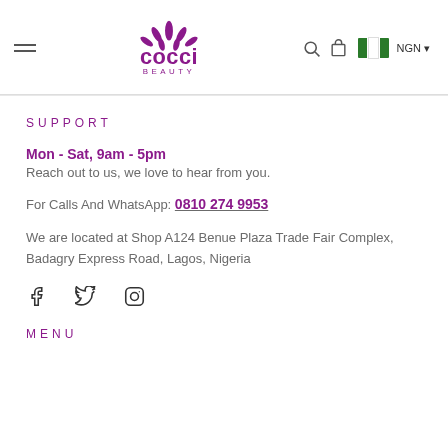Cocci Beauty – navigation header with hamburger menu, logo, search, cart, Nigerian flag, NGN currency
SUPPORT
Mon - Sat, 9am - 5pm
Reach out to us, we love to hear from you.
For Calls And WhatsApp: 0810 274 9953
We are located at Shop A124 Benue Plaza Trade Fair Complex, Badagry Express Road, Lagos, Nigeria
[Figure (illustration): Social media icons: Facebook, Twitter, Instagram]
MENU